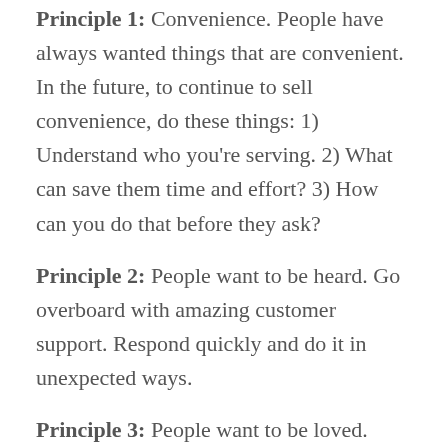Principle 1: Convenience. People have always wanted things that are convenient. In the future, to continue to sell convenience, do these things: 1) Understand who you're serving. 2) What can save them time and effort? 3) How can you do that before they ask?
Principle 2: People want to be heard. Go overboard with amazing customer support. Respond quickly and do it in unexpected ways.
Principle 3: People want to be loved. Find ways to send personalized thank you's